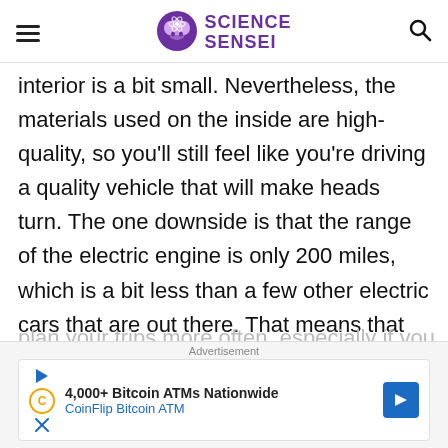SCIENCE SENSEI
interior is a bit small. Nevertheless, the materials used on the inside are high-quality, so you'll still feel like you're driving a quality vehicle that will make heads turn. The one downside is that the range of the electric engine is only 200 miles, which is a bit less than a few other electric cars that are out there. That means that you have to plan your trips more often, especially if you
Advertisement
4,000+ Bitcoin ATMs Nationwide CoinFlip Bitcoin ATM